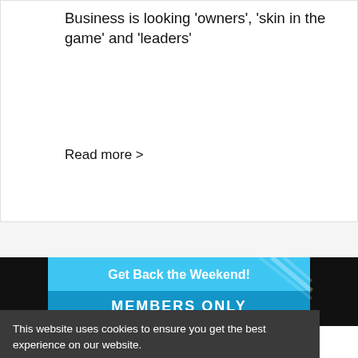Business is looking 'owners', 'skin in the game' and 'leaders'
Read more >
[Figure (screenshot): Banner advertisement with blue background. Top line: 'Get Back the Weekend!' in bold white text. Middle band: 'MEMBERS ONLY' in bold white uppercase letters. Bottom line: 'GUIDING YOUR DIGITAL TRANSFORMATION' in small italic white uppercase text. Diagonal light stripe decoration on right side. Black panels on far left and right edges.]
This website uses cookies to ensure you get the best experience on our website.
Learn more
Reject Cookies
Accept Cookies
concrete strategies for architects to